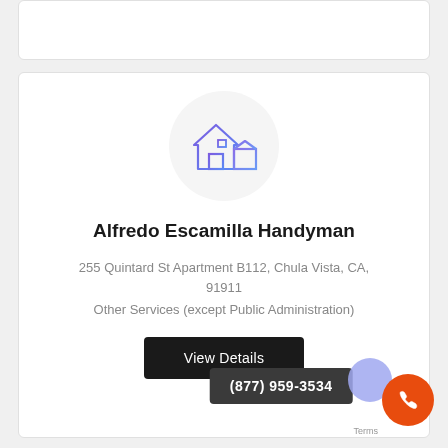[Figure (illustration): House/home icon with garage, drawn in purple/blue gradient lines, inside a light gray circle]
Alfredo Escamilla Handyman
255 Quintard St Apartment B112, Chula Vista, CA, 91911
Other Services (except Public Administration)
View Details
(877) 959-3534